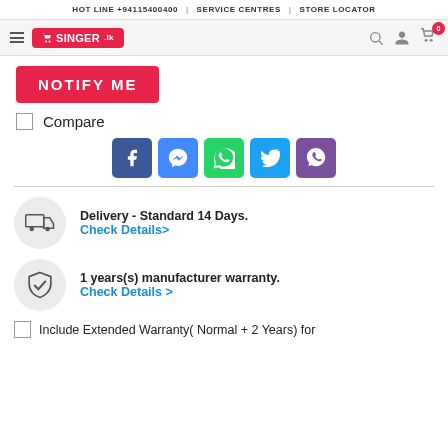HOT LINE +94115400400 | SERVICE CENTRES | STORE LOCATOR
[Figure (logo): Singer.lk navigation bar with hamburger menu, Singer logo in red, search icon, user icon, and cart icon with badge 0]
NOTIFY ME
Compare
[Figure (infographic): Social share buttons: Facebook (blue), Messenger (light blue), WhatsApp (green), Twitter (light blue), Viber (purple)]
Delivery - Standard 14 Days. Check Details>
1 years(s) manufacturer warranty. Check Details >
Include Extended Warranty( Normal + 2 Years) for